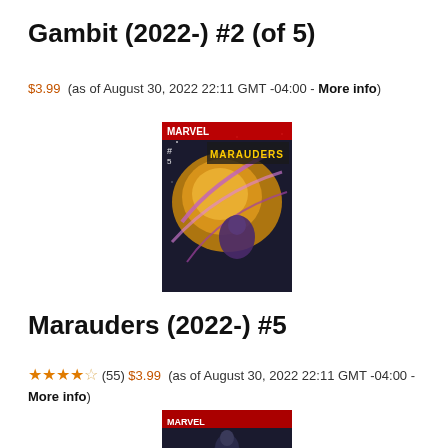Gambit (2022-) #2 (of 5)
$3.99  (as of August 30, 2022 22:11 GMT -04:00 - More info)
[Figure (photo): Comic book cover for Marauders issue, showing a character in action with gold and purple color scheme on a dark space background]
Marauders (2022-) #5
★★★★☆ (55) $3.99  (as of August 30, 2022 22:11 GMT -04:00 - More info)
[Figure (photo): Partial comic book cover visible at bottom of page, showing red and dark tones]